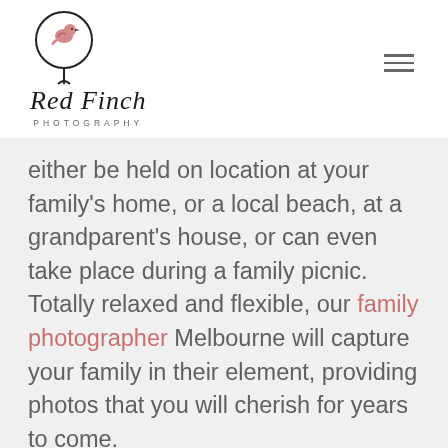[Figure (logo): Red Finch Photography logo with bird icon above cursive script text 'Red Finch' and subtitle 'PHOTOGRAPHY']
either be held on location at your family's home, or a local beach, at a grandparent's house, or can even take place during a family picnic. Totally relaxed and flexible, our family photographer Melbourne will capture your family in their element, providing photos that you will cherish for years to come.